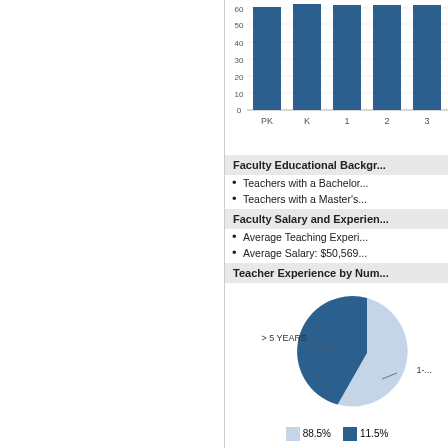[Figure (bar-chart): Students by Grade]
Faculty Educational Background
Teachers with a Bachelor's
Teachers with a Master's
Faculty Salary and Experience
Average Teaching Experience
Average Salary: $50,569
Teacher Experience by Number
[Figure (pie-chart): ]